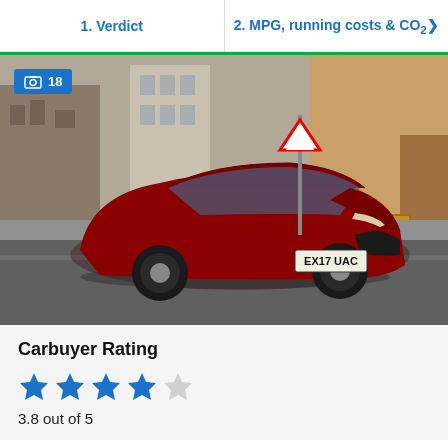1. Verdict | 2. MPG, running costs & CO2
[Figure (photo): Red Ford Mondeo car with licence plate EX17 UAC photographed on a city street. An image badge showing '18' photos appears in top-left corner.]
Carbuyer Rating
3.8 out of 5